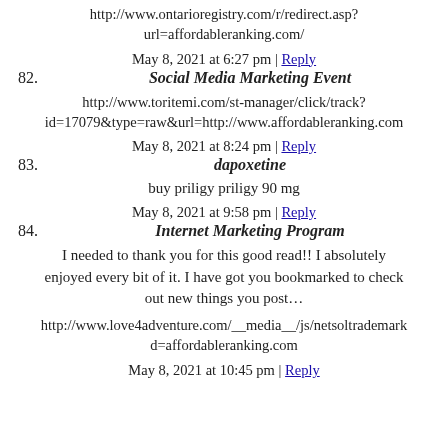http://www.ontarioregistry.com/r/redirect.asp?url=affordableranking.com/
May 8, 2021 at 6:27 pm | Reply
82. Social Media Marketing Event
http://www.toritemi.com/st-manager/click/track?id=17079&type=raw&url=http://www.affordableranking.com
May 8, 2021 at 8:24 pm | Reply
83. dapoxetine
buy priligy priligy 90 mg
May 8, 2021 at 9:58 pm | Reply
84. Internet Marketing Program
I needed to thank you for this good read!! I absolutely enjoyed every bit of it. I have got you bookmarked to check out new things you post…
http://www.love4adventure.com/__media__/js/netsoltrademark d=affordableranking.com
May 8, 2021 at 10:45 pm | Reply